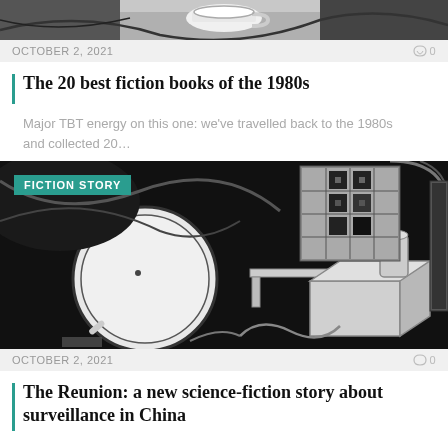[Figure (photo): Top portion of a photo showing a coffee cup on a dark surface, partially cropped]
OCTOBER 2, 2021   🔔 0
The 20 best fiction books of the 1980s
Major TBT energy on this one: we've travelled back to the 1980s and collected 20...
[Figure (illustration): Black and white abstract illustration showing circular lens/magnifying glass shapes, geometric building-like structures with grid windows, tables, and surrealist objects — fiction story illustration]
OCTOBER 2, 2021   🔔 0
The Reunion: a new science-fiction story about surveillance in China